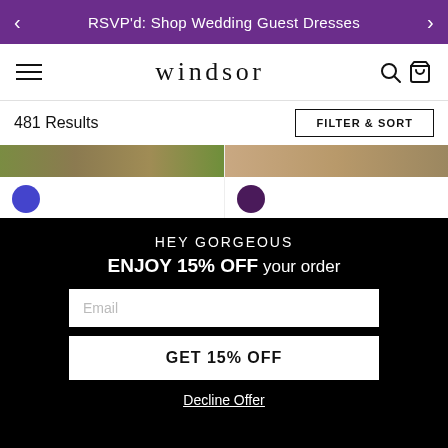RSVP'd: Shop Wedding Guest Dresses
[Figure (logo): Windsor store logo and navigation bar with hamburger menu, search icon, and bag icon]
481 Results
FILTER & SORT
[Figure (photo): Kai Formal One Shoulder Sequin Short Dress product listing with blue color swatch]
Kai Formal One Shoulder Sequin Short Dress
$60.00
[Figure (photo): Monique Sequin Bodycon Mini Dress product listing with purple color swatch]
Monique Sequin Bodycon Mini Dress
$64.00
HEY GORGEOUS
ENJOY 15% OFF your order
Email
GET 15% OFF
Decline Offer